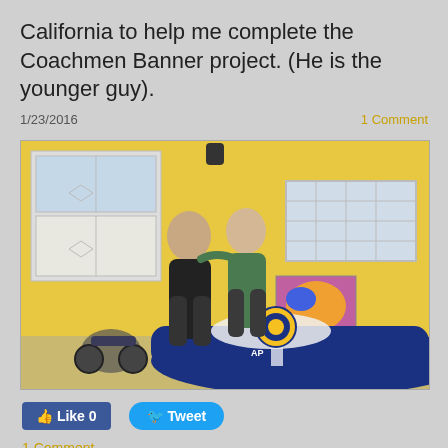California to help me complete the Coachmen Banner project.  (He is the younger guy).
1/23/2016
1 Comment
[Figure (photo): Two men standing in a garage in front of a blue sports car (Cobra replica). One man wears black, the other a green shirt. Yellow walls, a motorcycle is visible on the left, and a colorful painting on the right. Papers with a circular logo are on the car hood. 'AP' text visible on the car.]
Like 0
Tweet
1 Comment